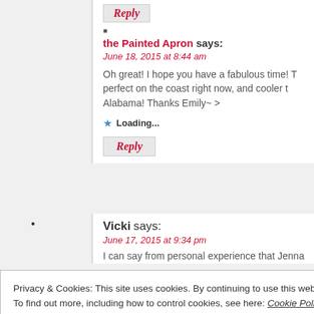Reply
the Painted Apron says:
June 18, 2015 at 8:44 am
Oh great! I hope you have a fabulous time! T perfect on the coast right now, and cooler t Alabama! Thanks Emily~ >
Loading...
Reply
Vicki says:
June 17, 2015 at 9:34 pm
I can say from personal experience that Jenna
Privacy & Cookies: This site uses cookies. By continuing to use this website, you agree to their use. To find out more, including how to control cookies, see here: Cookie Policy
Close and accept
the Painted Apron says: